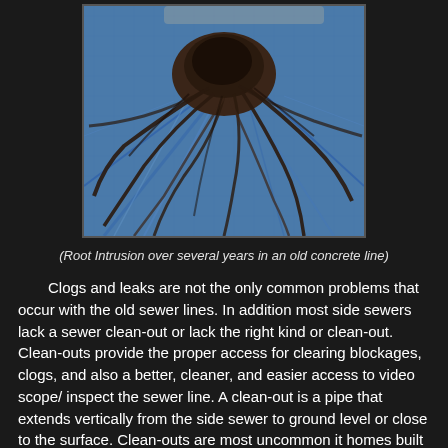[Figure (photo): Photo of root intrusion inside an old concrete sewer line. Dense brown roots spreading out over a blue/grey concrete pipe surface, viewed from below looking up.]
(Root Intrusion over several years in an old concrete line)
Clogs and leaks are not the only common problems that occur with the old sewer lines. In addition most side sewers lack a sewer clean-out or lack the right kind or clean-out. Clean-outs provide the proper access for clearing blockages, clogs, and also a better, cleaner, and easier access to video scope/ inspect the sewer line. A clean-out is a pipe that extends vertically from the side sewer to ground level or close to the surface. Clean-outs are most uncommon it homes built in the 80's. Clean-outs are an essential part of the sewer system and are current plumbing